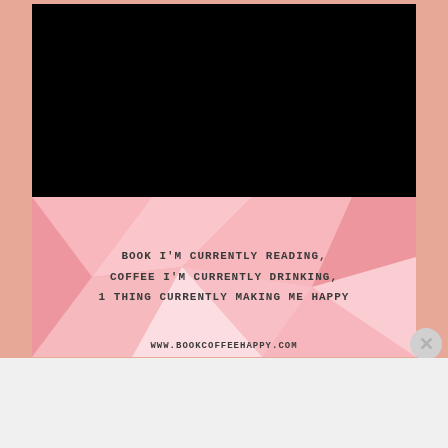[Figure (other): Black rectangle representing a video player area]
[Figure (illustration): Pink geometric low-poly banner with text: BOOK I'M CURRENTLY READING, COFFEE I'M CURRENTLY DRINKING, 1 THING CURRENTLY MAKING ME HAPPY and website www.bookcoffeehappy.com]
Advertisements
[Figure (logo): WordPress VIP logo with circle W icon and VIP text]
[Figure (other): Advertisement banner with orange/gold gradient and Learn more button with arrow]